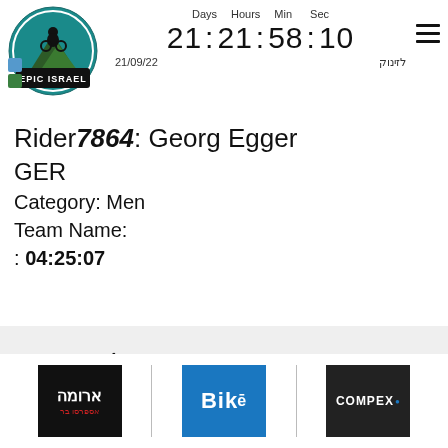[Figure (logo): Epic Israel mountain bike event logo - circular logo with rider silhouette and teal/blue design]
Days  Hours  Min  Sec
21 : 21 : 58 : 10
21/09/22                לזינוק
Rider7864: Georg Egger
GER
Category: Men
Team Name:
: 04:25:07
[Figure (logo): Social media icons: Telegram/send icon, vertical divider, Facebook f, vertical divider, YouTube play button]
[Figure (logo): Sponsor logos: Aroma (Israeli coffee chain) black logo, Bike magazine blue logo, Compex dark logo]